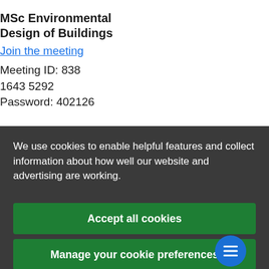MSc Environmental Design of Buildings
Join the meeting
Meeting ID: 838 1643 5292
Password: 402126
We use cookies to enable helpful features and collect information about how well our website and advertising are working.
Accept all cookies
Manage your cookie preferences